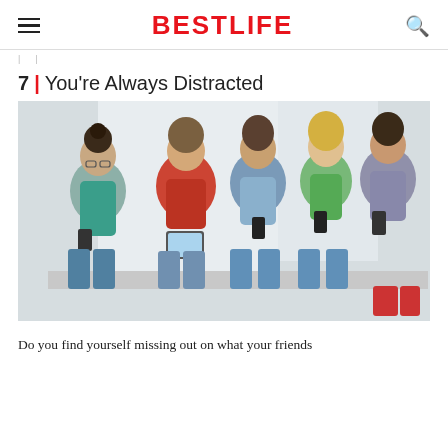BESTLIFE
| |
7 | You're Always Distracted
[Figure (photo): Five young people sitting together on a bench, all looking down at their smartphones and a tablet, ignoring each other. They are in a bright room with white walls.]
Do you find yourself missing out on what your friends